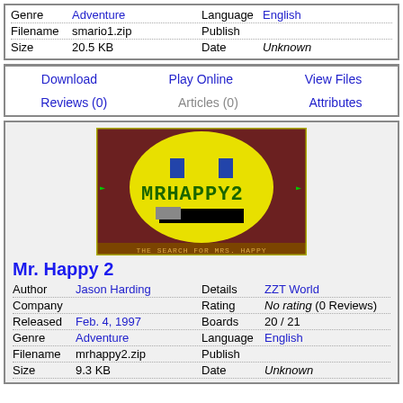| Genre | Adventure | Language | English |
| Filename | smario1.zip | Publish |  |
| Size | 20.5 KB | Date | Unknown |
| Download | Play Online | View Files |
| Reviews (0) | Articles (0) | Attributes |
[Figure (screenshot): Mr. Happy 2 game screenshot showing a pixelated yellow smiley face with text 'MRHAPPY2' and 'THE SEARCH FOR MRS. HAPPY' on a dark brown background]
Mr. Happy 2
| Author | Jason Harding | Details | ZZT World |
| Company |  | Rating | No rating (0 Reviews) |
| Released | Feb. 4, 1997 | Boards | 20 / 21 |
| Genre | Adventure | Language | English |
| Filename | mrhappy2.zip | Publish |  |
| Size | 9.3 KB | Date | Unknown |